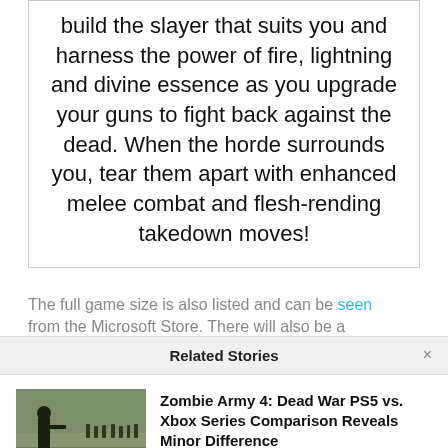build the slayer that suits you and harness the power of fire, lightning and divine essence as you upgrade your guns to fight back against the dead. When the horde surrounds you, tear them apart with enhanced melee combat and flesh-rending takedown moves!
The full game size is also listed and can be seen
Related Stories
Zombie Army 4: Dead War PS5 vs. Xbox Series Comparison Reveals Minor Difference